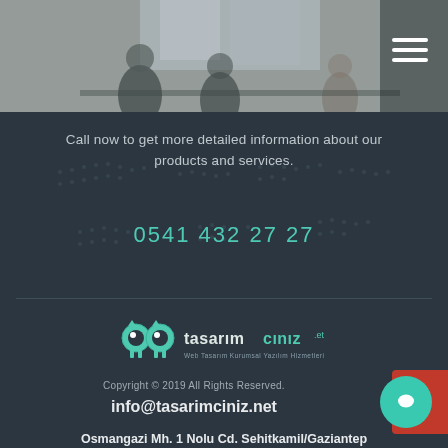[Figure (photo): Office environment with people working, light background, top section of page]
Call now to get more detailed information about our products and services.
0541 432 27 27
[Figure (logo): Tasarimciniz logo with owl icon and text 'tasarimciniz.et Web Tasarim Kurumsal Yazilim Hizmetleri']
Copyright © 2019 All Rights Reserved.
info@tasarimciniz.net
Osmangazi Mh. 1 Nolu Cd. Sehitkamil/Gaziantep